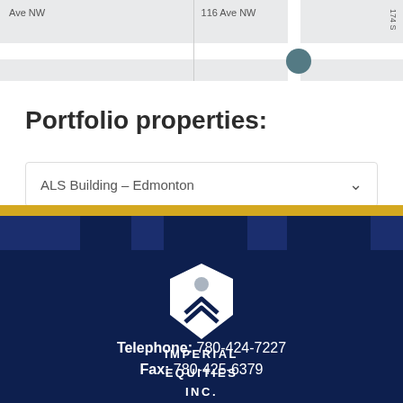[Figure (map): Map showing street view with Ave NW label on left panel and 116 Ave NW label on right panel with a teal location marker circle. A vertical road label '174 S' visible on right edge.]
Portfolio properties:
ALS Building – Edmonton
[Figure (logo): Imperial Equities Inc. white hexagon logo with chevron marks inside, on dark navy background]
Telephone: 780-424-7227
Fax: 780-425-6379